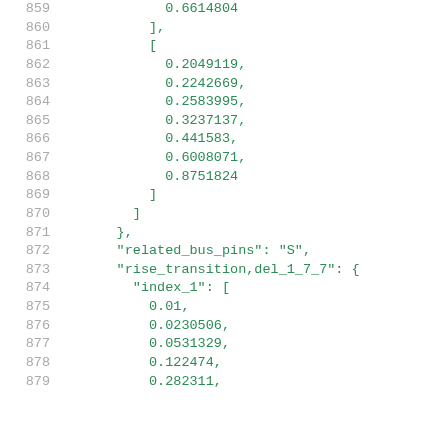859     0.6614804
860   ],
861   [
862     0.2049119,
863     0.2242669,
864     0.2583995,
865     0.3237137,
866     0.441583,
867     0.6008071,
868     0.8751824
869   ]
870 ]
871 },
872 "related_bus_pins": "S",
873 "rise_transition,del_1_7_7": {
874   "index_1": [
875     0.01,
876     0.0230506,
877     0.0531329,
878     0.122474,
879     0.282311,